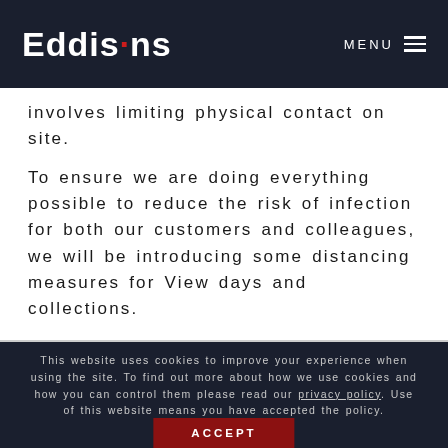Eddisons  MENU
involves limiting physical contact on site.
To ensure we are doing everything possible to reduce the risk of infection for both our customers and colleagues, we will be introducing some distancing measures for View days and collections.
This website uses cookies to improve your experience when using the site. To find out more about how we use cookies and how you can control them please read our privacy policy. Use of this website means you have accepted the policy.
ACCEPT